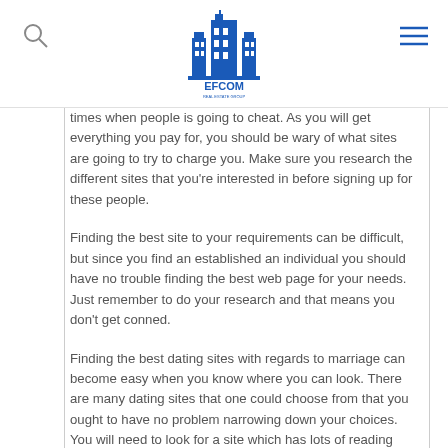EFCOM
times when people is going to cheat. As you will get everything you pay for, you should be wary of what sites are going to try to charge you. Make sure you research the different sites that you’re interested in before signing up for these people.
Finding the best site to your requirements can be difficult, but since you find an established an individual you should have no trouble finding the best web page for your needs. Just remember to do your research and that means you don’t get conned.
Finding the best dating sites with regards to marriage can become easy when you know where you can look. There are many dating sites that one could choose from that you ought to have no problem narrowing down your choices. You will need to look for a site which has lots of reading user reviews, good match ups profiles and a good ranking with the Bbb. In the event you search for this online, you should have not any problems locating the perfect